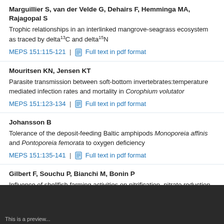Marguillier S, van der Velde G, Dehairs F, Hemminga MA, Rajagopal S
Trophic relationships in an interlinked mangrove-seagrass ecosystem as traced by delta13C and delta15N
MEPS 151:115-121 | Full text in pdf format
Mouritsen KN, Jensen KT
Parasite transmission between soft-bottom invertebrates:temperature mediated infection rates and mortality in Corophium volutator
MEPS 151:123-134 | Full text in pdf format
Johansson B
Tolerance of the deposit-feeding Baltic amphipods Monoporeia affinis and Pontoporeia femorata to oxygen deficiency
MEPS 151:135-141 | Full text in pdf format
Gilbert F, Souchu P, Bianchi M, Bonin P
Influence of shellfish farming activities on nitrification, nitrate reduction to ammonium and denitrification at the water-sediment interface of the Thau lagoon, France
This is a preview...